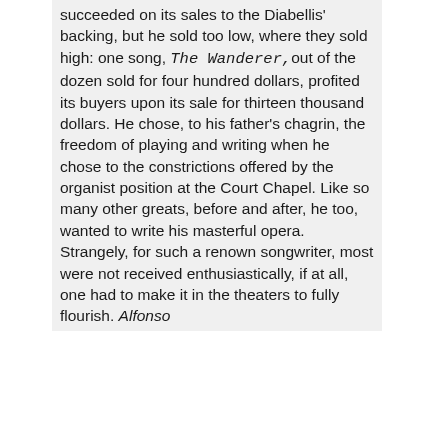succeeded on its sales to the Diabellis' backing, but he sold too low, where they sold high: one song, The Wanderer,out of the dozen sold for four hundred dollars, profited its buyers upon its sale for thirteen thousand dollars. He chose, to his father's chagrin, the freedom of playing and writing when he chose to the constrictions offered by the organist position at the Court Chapel. Like so many other greats, before and after, he too, wanted to write his masterful opera. Strangely, for such a renown songwriter, most were not received enthusiastically, if at all, one had to make it in the theaters to fully flourish. Alfonso and Estrella, his first...